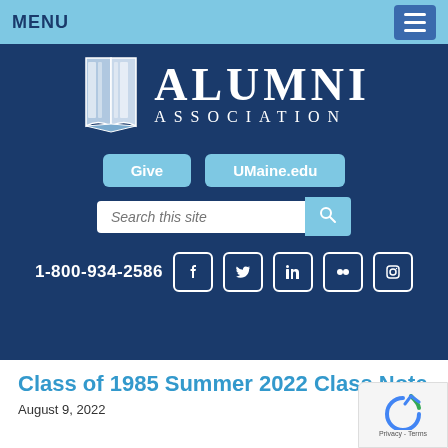MENU
[Figure (logo): UMaine Alumni Association logo with open book icon and text ALUMNI ASSOCIATION]
[Figure (screenshot): Navigation buttons: Give, UMaine.edu, and Search this site input field with search icon]
1-800-934-2586 [Facebook] [Twitter] [LinkedIn] [Flickr] [Instagram]
Class of 1985 Summer 2022 Class Note
August 9, 2022